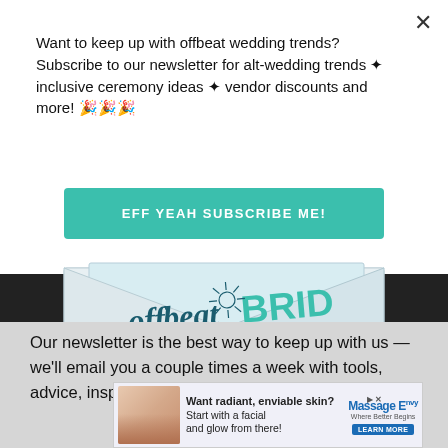Want to keep up with offbeat wedding trends?Subscribe to our newsletter for alt-wedding trends ✦ inclusive ceremony ideas ✦ vendor discounts and more! 🎉🎉🎉
EFF YEAH SUBSCRIBE ME!
[Figure (illustration): Offbeat Bride envelope logo illustration on dark background]
Our newsletter is the best way to keep up with us — we'll email you a couple times a week with tools, advice, inspo
[Figure (infographic): Advertisement banner: Want radiant, enviable skin? Start with a facial and glow from there! Massage Envy - Where Better Begins. LEARN MORE]